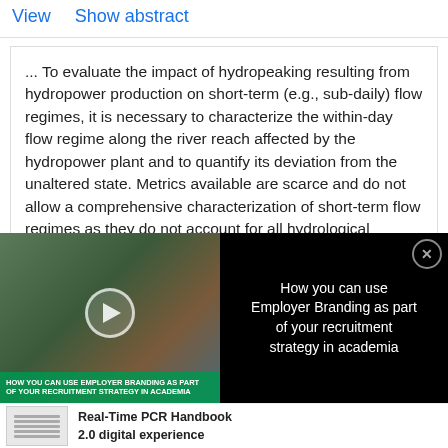View   Show abstract
... To evaluate the impact of hydropeaking resulting from hydropower production on short-term (e.g., sub-daily) flow regimes, it is necessary to characterize the within-day flow regime along the river reach affected by the hydropower plant and to quantify its deviation from the unaltered state. Metrics available are scarce and do not allow a comprehensive characterization of short-term flow regimes as they do not account for all hydrological
[Figure (other): Video thumbnail overlay: 'How you can use Employer Branding as part of your recruitment strategy in academia' with play button and close button]
Real-Time PCR Handbook 2.0 digital experience